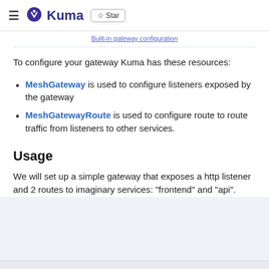≡  Kuma  ☆ Star
To configure your gateway Kuma has these resources:
MeshGateway is used to configure listeners exposed by the gateway
MeshGatewayRoute is used to configure route to route traffic from listeners to other services.
Usage
We will set up a simple gateway that exposes a http listener and 2 routes to imaginary services: "frontend" and "api".